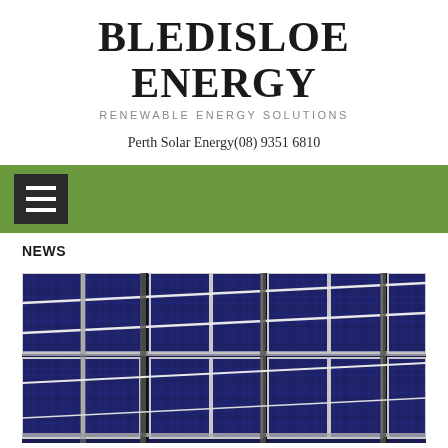BLEDISLOE ENERGY
RENEWABLE ENERGY SOLUTIONS
Perth Solar Energy(08) 9351 6810
[Figure (screenshot): Green navigation bar with a dark hamburger menu icon on the left]
NEWS
[Figure (photo): Close-up photograph of solar panels arranged in a grid, showing blue photovoltaic cells with silver framing]